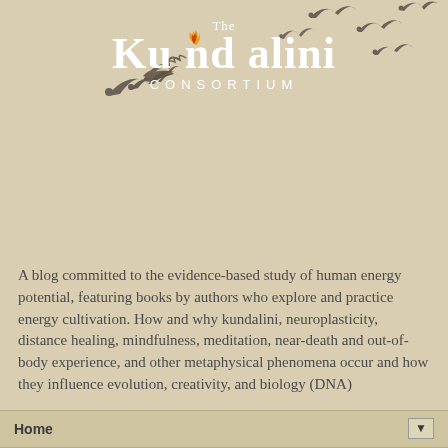[Figure (logo): The Kundalini Consortium logo with white serif text and decorative birds silhouettes on a tan/beige background]
A blog committed to the evidence-based study of human energy potential, featuring books by authors who explore and practice energy cultivation. How and why kundalini, neuroplasticity, distance healing, mindfulness, meditation, near-death and out-of-body experience, and other metaphysical phenomena occur and how they influence evolution, creativity, and biology (DNA)
Home
Monday, May 26, 2014
We Prefer Listening to Doing